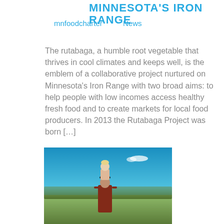MINNESOTA'S IRON RANGE
mnfoodcharter
News
The rutabaga, a humble root vegetable that thrives in cool climates and keeps well, is the emblem of a collaborative project nurtured on Minnesota's Iron Range with two broad aims: to help people with low incomes access healthy fresh food and to create markets for local food producers. In 2013 the Rutabaga Project was born […]
[Figure (photo): A person holding a small child on their shoulders in an outdoor field with a blue sky and trees in the background.]